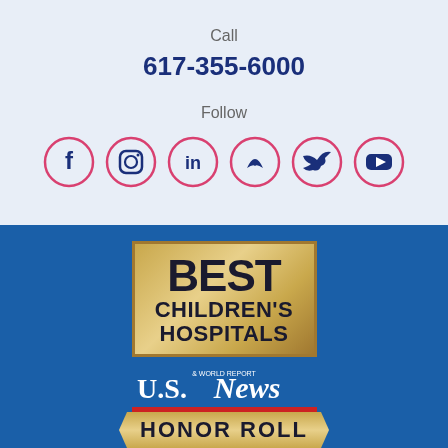Call
617-355-6000
Follow
[Figure (infographic): Social media icons: Facebook, Instagram, LinkedIn, Snapchat, Twitter, YouTube — each in a pink/red circle outline]
[Figure (logo): US News Best Children's Hospitals Honor Roll badge on blue background]